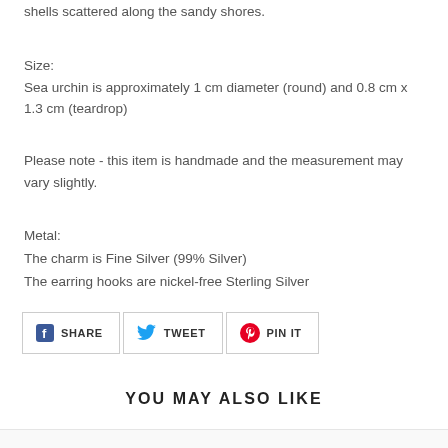shells scattered along the sandy shores.
Size:
Sea urchin is approximately 1 cm diameter (round) and 0.8 cm x 1.3 cm (teardrop)
Please note - this item is handmade and the measurement may vary slightly.
Metal:
The charm is Fine Silver (99% Silver)
The earring hooks are nickel-free Sterling Silver
[Figure (other): Social share buttons row: SHARE (Facebook), TWEET (Twitter), PIN IT (Pinterest)]
YOU MAY ALSO LIKE